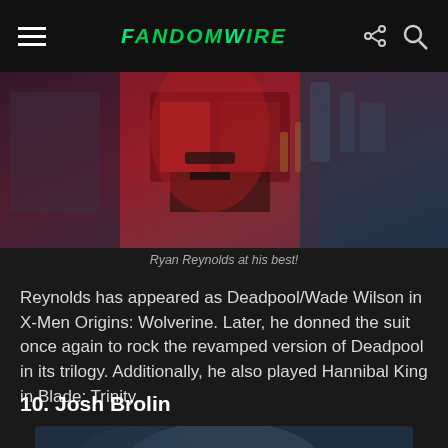FandomWire
[Figure (photo): Deadpool costume close-up showing red and black suit with studded details, dark industrial background]
Ryan Reynolds at his best!
Reynolds has appeared as Deadpool/Wade Wilson in X-Men Origins: Wolverine. Later, he donned the suit once again to rock the revamped version of Deadpool in its trilogy. Additionally, he also played Hannibal King in Blade: Trinity.
10. Josh Brolin
[Figure (photo): Partial view of Josh Brolin, cut off at bottom of page]